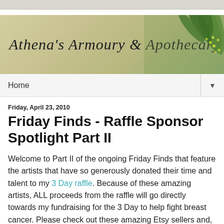[Figure (illustration): Blog header banner for 'Athena's Armoury & Apothecary' with olive/botanical themed background, script text and leaf imagery on right side]
Home ▼
Friday, April 23, 2010
Friday Finds - Raffle Sponsor Spotlight Part II
Welcome to Part II of the ongoing Friday Finds that feature the artists that have so generously donated their time and talent to my 3 Day raffle. Because of these amazing artists, ALL proceeds from the raffle will go directly towards my fundraising for the 3 Day to help fight breast cancer. Please check out these amazing Etsy sellers and, of course, (shameless plug here) the raffle where you can win some of